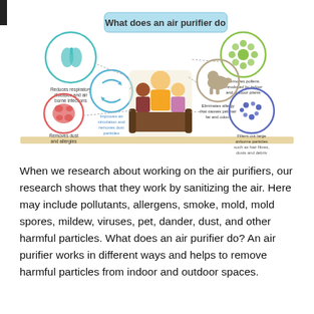[Figure (infographic): Infographic titled 'What does an air purifier do' showing a family sitting on a couch surrounded by labeled circles describing air purifier benefits: Reduces respiratory diseases and air borne infections, Improves air circulation and removes dust particles, Removes dust and allergies, Eliminates allergy that causes pet hair fat and odour, Removes pollens introduced by indoor and outdoor plants, Filters out large airborne particles such as hair fibres, dusts and debris.]
When we research about working on the air purifiers, our research shows that they work by sanitizing the air. Here may include pollutants, allergens, smoke, mold, mold spores, mildew, viruses, pet, dander, dust, and other harmful particles. What does an air purifier do? An air purifier works in different ways and helps to remove harmful particles from indoor and outdoor spaces.